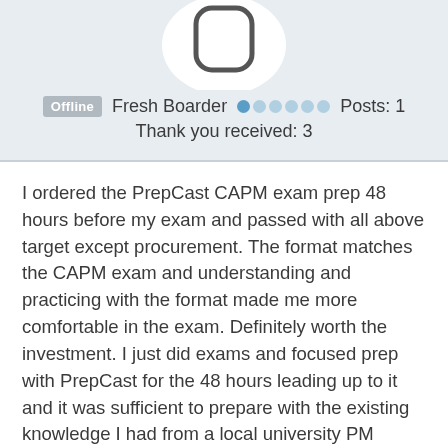[Figure (illustration): User avatar circle with a silhouette icon, partially cropped at top]
Offline   Fresh Boarder   ●○○○○○   Posts: 1
Thank you received: 3
I ordered the PrepCast CAPM exam prep 48 hours before my exam and passed with all above target except procurement. The format matches the CAPM exam and understanding and practicing with the format made me more comfortable in the exam. Definitely worth the investment. I just did exams and focused prep with PrepCast for the 48 hours leading up to it and it was sufficient to prepare with the existing knowledge I had from a local university PM foundations course. Highly recommend "PMBOK® Guide 6th Ed Processes Explained with Ricardo Vargas!" on YouTube. It's a must watch as other people have said. My suggestion for candidates would be focus extra time on cost